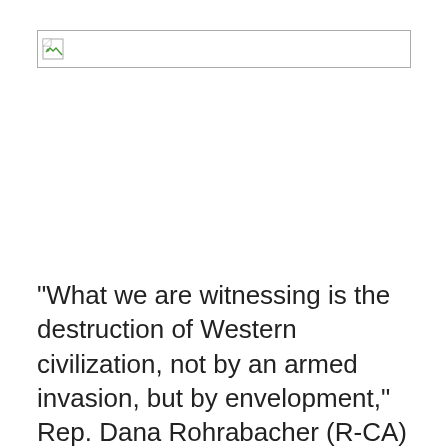[Figure (other): Broken/missing image placeholder with icon]
“What we are witnessing is the destruction of Western civilization, not by an armed invasion, but by envelopment,” Rep. Dana Rohrabacher (R-CA) said Wednesday during a hearing on Capitol Hill on the growing